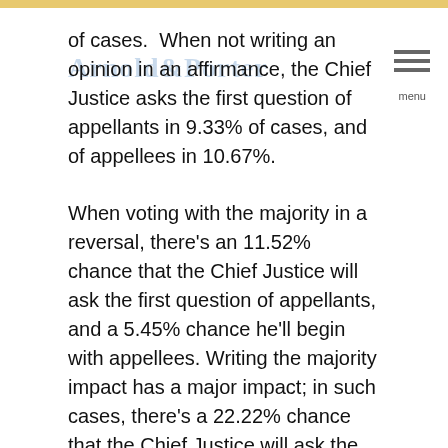of cases. When not writing an opinion in an affirmance, the Chief Justice asks the first question of appellants in 9.33% of cases, and of appellees in 10.67%.
When voting with the majority in a reversal, there's an 11.52% chance that the Chief Justice will ask the first question of appellants, and a 5.45% chance he'll begin with appellees. Writing the majority impact has a major impact; in such cases, there's a 22.22% chance that the Chief Justice will ask the first question of appellants, and a 14.81% chance that he'll begin with appellees. When the Chief Justice is not writing an opinion and votes with the majority in a reversal, he asks the first question of